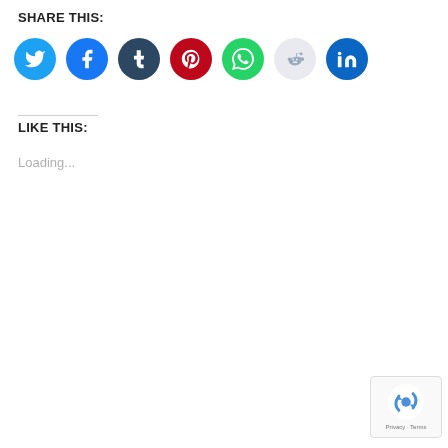SHARE THIS:
[Figure (other): Row of social media sharing icons: Twitter (blue), Facebook (blue), Tumblr (dark navy), Pinterest (red), WhatsApp (green), Reddit (light gray), LinkedIn (blue)]
LIKE THIS:
Loading...
[Figure (other): Google reCAPTCHA badge with spinning arrows logo and text 'Privacy - Terms']